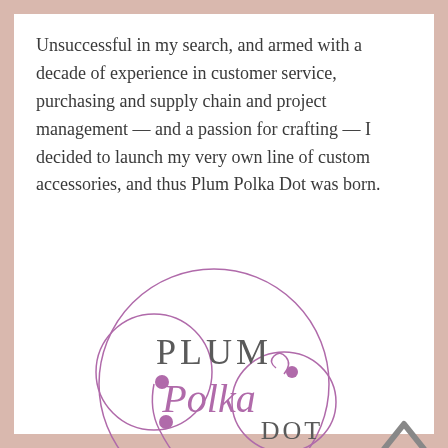Unsuccessful in my search, and armed with a decade of experience in customer service, purchasing and supply chain and project management — and a passion for crafting — I decided to launch my very own line of custom accessories, and thus Plum Polka Dot was born.
[Figure (logo): Plum Polka Dot circular logo with cursive and serif typography in purple/plum colors]